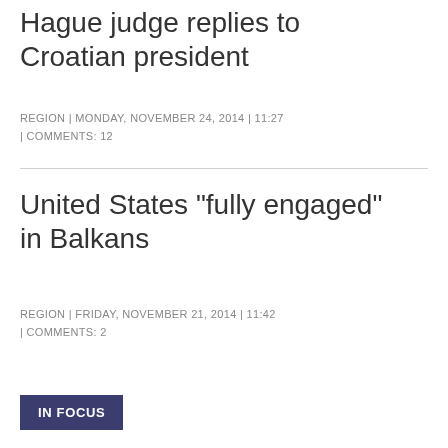Hague judge replies to Croatian president
REGION | MONDAY, NOVEMBER 24, 2014 | 11:27 | COMMENTS: 12
United States "fully engaged" in Balkans
REGION | FRIDAY, NOVEMBER 21, 2014 | 11:42 | COMMENTS: 2
IN FOCUS